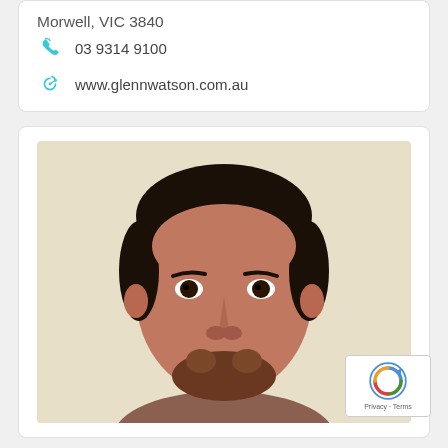Morwell, VIC 3840
03 9314 9100
www.glennwatson.com.au
[Figure (photo): Headshot of a smiling South Asian man with short dark hair and beard, wearing a white collared shirt, photographed against a light beige background.]